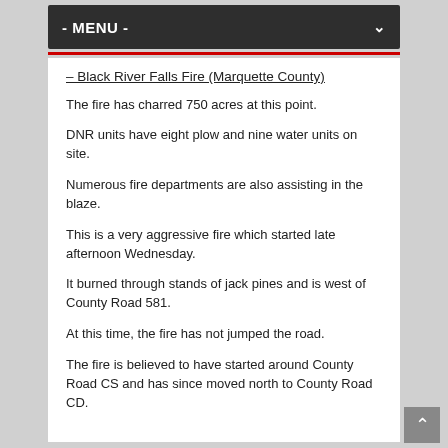- MENU -
– Black River Falls Fire (Marquette County)
The fire has charred 750 acres at this point.
DNR units have eight plow and nine water units on site.
Numerous fire departments are also assisting in the blaze.
This is a very aggressive fire which started late afternoon Wednesday.
It burned through stands of jack pines and is west of County Road 581.
At this time, the fire has not jumped the road.
The fire is believed to have started around County Road CS and has since moved north to County Road CD.